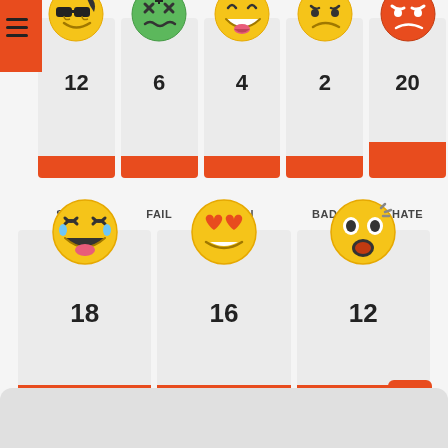[Figure (infographic): Emoji reaction stats infographic showing 8 emoji categories with counts: SUPER=12, FAIL=6, FUN=4, BAD=2, HATE=20, LOL=18, LOVE=16, OMG=12. Each emoji has a card with a count number, orange accent bar, and label. There is a hamburger menu icon in the top-left orange bar. A floating action button (orange, up-arrow) is in the bottom right.]